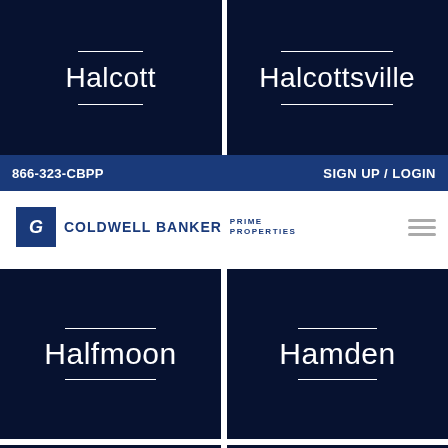Halcott
Halcottsville
866-323-CBPP   SIGN UP / LOGIN
[Figure (logo): Coldwell Banker Prime Properties logo with CB icon]
Halfmoon
Hamden